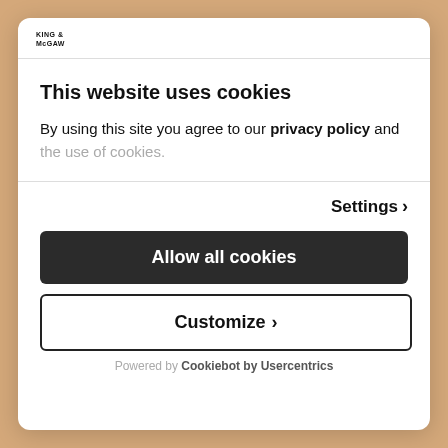[Figure (logo): King & McGaw logo text in small caps]
This website uses cookies
By using this site you agree to our privacy policy and the use of cookies.
Settings >
Allow all cookies
Customize >
Powered by Cookiebot by Usercentrics